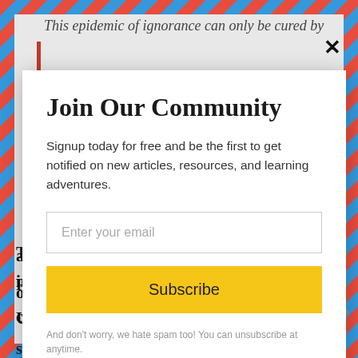This epidemic of ignorance can only be cured by
[Figure (screenshot): Email subscription modal popup with airmail-style border background. Contains title 'Join Our Community', descriptive text, email input field, Subscribe button, and spam disclaimer.]
Join Our Community
Signup today for free and be the first to get notified on new articles, resources, and learning adventures.
Enter your email
Subscribe
And don't worry, we hate spam too! You can unsubscribe at anytime.
achievements of people who overcame insurmountable
odds to enjoy the unfulfilled promises of the United